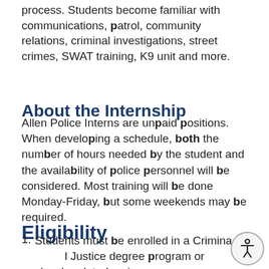process. Students become familiar with communications, patrol, community relations, criminal investigations, street crimes, SWAT training, K9 unit and more.
About the Internship
Allen Police Interns are unpaid positions. When developing a schedule, both the number of hours needed by the student and the availability of police personnel will be considered. Most training will be done Monday-Friday, but some weekends may be required.
Eligibility
Students must be enrolled in a Criminal Justice degree program or closely-related major
If enrolled in a Bachelor's...